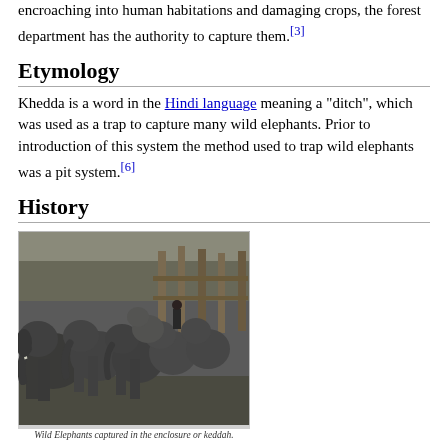encroaching into human habitations and damaging crops, the forest department has the authority to capture them.[3]
Etymology
Khedda is a word in the Hindi language meaning a "ditch", which was used as a trap to capture many wild elephants. Prior to introduction of this system the method used to trap wild elephants was a pit system.[6]
History
[Figure (photo): Black and white photograph of wild elephants captured in an enclosure or keddah, showing a herd of elephants crowded together with wooden fencing visible in the background.]
Wild Elephants captured in the enclosure or keddah.
Elephant stockade or Kheddah